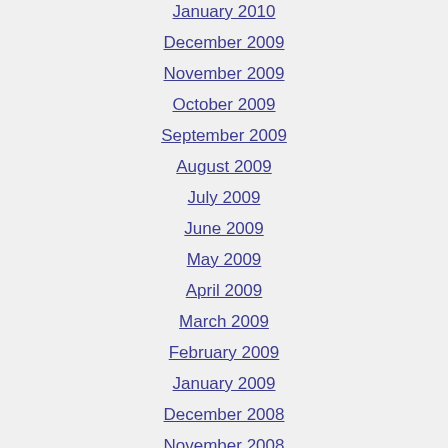January 2010
December 2009
November 2009
October 2009
September 2009
August 2009
July 2009
June 2009
May 2009
April 2009
March 2009
February 2009
January 2009
December 2008
November 2008
October 2008
September 2008
August 2008
July 2008